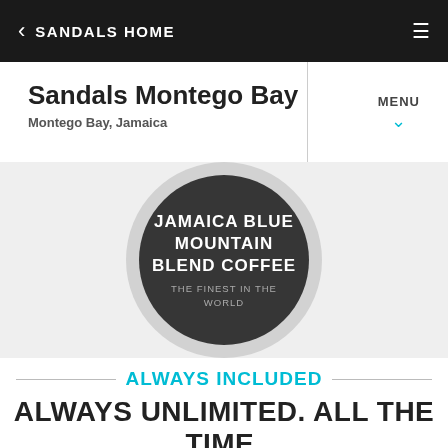< SANDALS HOME
Sandals Montego Bay
Montego Bay, Jamaica
MENU
[Figure (logo): Dark circular badge with text: JAMAICA BLUE MOUNTAIN BLEND COFFEE THE FINEST IN THE WORLD]
ALWAYS INCLUDED
ALWAYS UNLIMITED. ALL THE TIME.